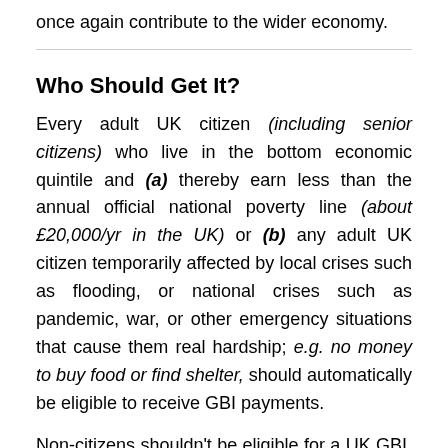once again contribute to the wider economy.
Who Should Get It?
Every adult UK citizen (including senior citizens) who live in the bottom economic quintile and (a) thereby earn less than the annual official national poverty line (about £20,000/yr in the UK) or (b) any adult UK citizen temporarily affected by local crises such as flooding, or national crises such as pandemic, war, or other emergency situations that cause them real hardship; e.g. no money to buy food or find shelter, should automatically be eligible to receive GBI payments.
Non-citizens shouldn't be eligible for a UK GBI, but should be able to (easily) access enough funds from the UK